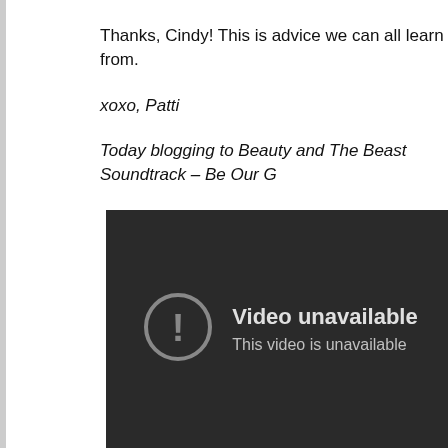Thanks, Cindy! This is advice we can all learn from.
xoxo, Patti
Today blogging to Beauty and The Beast Soundtrack – Be Our G
[Figure (screenshot): Video unavailable placeholder showing dark background with exclamation icon circle and text 'Video unavailable' and 'This video is unavailable']